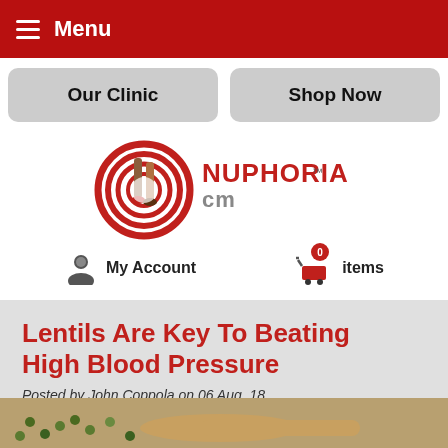Menu
Our Clinic
Shop Now
[Figure (logo): Nuphoria CM logo — circular red/white target design with illustrated legs, and 'NUPHORIA cm' brand text in red/grey stylized font with trademark symbol]
My Account
0 items
Lentils Are Key To Beating High Blood Pressure
Posted by John Coppola on 06 Aug, 18
[Figure (photo): Partially visible photo of lentils at the bottom of the page]